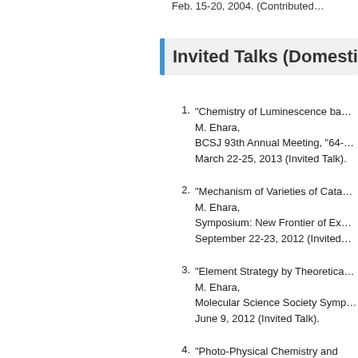Feb. 15-20, 2004. (Contributed…
Invited Talks (Domestic, in Japa…
"Chemistry of Luminescence ba…
M. Ehara,
BCSJ 93th Annual Meeting, "64-…
March 22-25, 2013 (Invited Talk).
"Mechanism of Varieties of Cata…
M. Ehara,
Symposium: New Frontier of Ex…
September 22-23, 2012 (Invited…
"Element Strategy by Theoretica…
M. Ehara,
Molecular Science Society Symp…
June 9, 2012 (Invited Talk).
"Photo-Physical Chemistry and P…
M. Ehara,
Intensive Lecture Course "Mater…
October 24, 2011 (Invited Talk).
"Exploring Next-generation Theo…